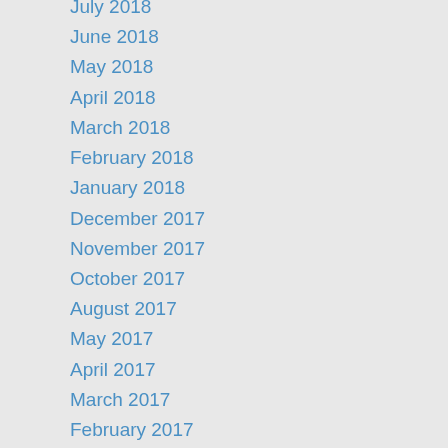July 2018
June 2018
May 2018
April 2018
March 2018
February 2018
January 2018
December 2017
November 2017
October 2017
August 2017
May 2017
April 2017
March 2017
February 2017
January 2017
December 2016
November 2016
October 2016
September 2016
August 2016